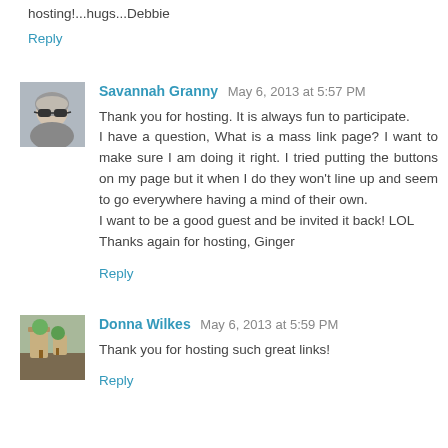hosting!...hugs...Debbie
Reply
Savannah Granny  May 6, 2013 at 5:57 PM
Thank you for hosting. It is always fun to participate.
I have a question, What is a mass link page? I want to make sure I am doing it right. I tried putting the buttons on my page but it when I do they won't line up and seem to go everywhere having a mind of their own.
I want to be a good guest and be invited it back! LOL
Thanks again for hosting, Ginger
Reply
Donna Wilkes  May 6, 2013 at 5:59 PM
Thank you for hosting such great links!
Reply